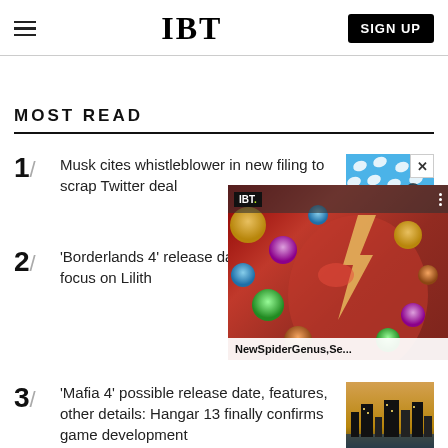IBT
MOST READ
1/ Musk cites whistleblower in new filing to scrap Twitter deal
[Figure (photo): Twitter bird logo pattern on blue background with person]
2/ 'Borderlands 4' release date, plot Storyline likely to focus on Lilith
[Figure (screenshot): IBT video overlay showing NewSpiderGenus,Se... title over colorful image]
3/ 'Mafia 4' possible release date, features, other details: Hangar 13 finally confirms game development
[Figure (photo): Mafia 4 thumbnail showing city night scene]